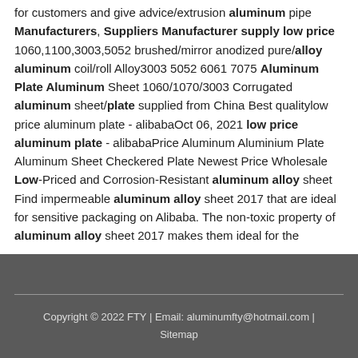for customers and give advice/extrusion aluminum pipe Manufacturers, Suppliers Manufacturer supply low price 1060,1100,3003,5052 brushed/mirror anodized pure/alloy aluminum coil/roll Alloy3003 5052 6061 7075 Aluminum Plate Aluminum Sheet 1060/1070/3003 Corrugated aluminum sheet/plate supplied from China Best qualitylow price aluminum plate - alibabaOct 06, 2021 low price aluminum plate - alibabaPrice Aluminum Aluminium Plate Aluminum Sheet Checkered Plate Newest Price Wholesale Low-Priced and Corrosion-Resistant aluminum alloy sheet Find impermeable aluminum alloy sheet 2017 that are ideal for sensitive packaging on Alibaba. The non-toxic property of aluminum alloy sheet 2017 makes them ideal for the
Copyright © 2022 FTY | Email: aluminumfty@hotmail.com | Sitemap